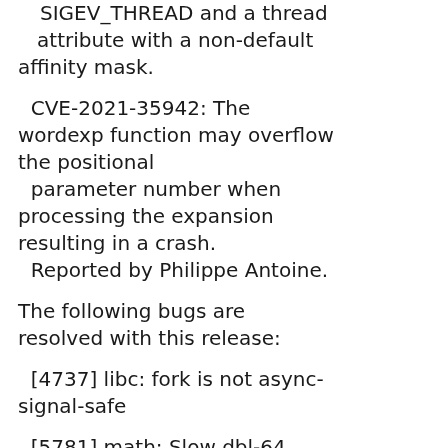SIGEV_THREAD and a thread attribute with a non-default affinity mask.
CVE-2021-35942: The wordexp function may overflow the positional parameter number when processing the expansion resulting in a crash. Reported by Philippe Antoine.
The following bugs are resolved with this release:
[4737] libc: fork is not async-signal-safe
[5781] math: Slow dbl-64 sin/cos/sincos for special values
[10353] libc: Methods for deleting all file descriptors greater than given integer (closefrom)
[14185] glob: fnmatch() fails when '*' wildcard is applied on